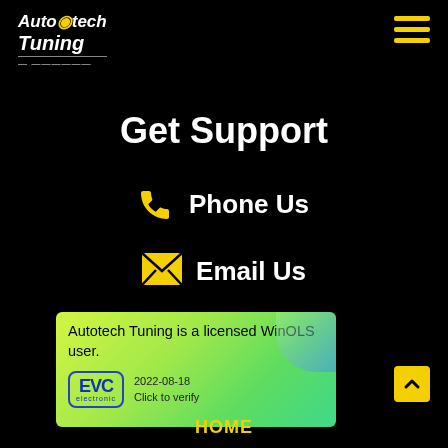[Figure (logo): Autotech Tuning logo in white italic text on black background]
[Figure (other): Hamburger menu icon (three yellow horizontal lines) in top right corner]
Get Support
Phone Us
Email Us
[Figure (other): EVC electronic WinOLS license badge card with green-yellow gradient background. Text: Autotech Tuning is a licensed WinOLS user. EVC electronic logo. 2022-08-18 Click to verify]
[Figure (other): Back to top button - yellow square with upward chevron arrow]
HOME